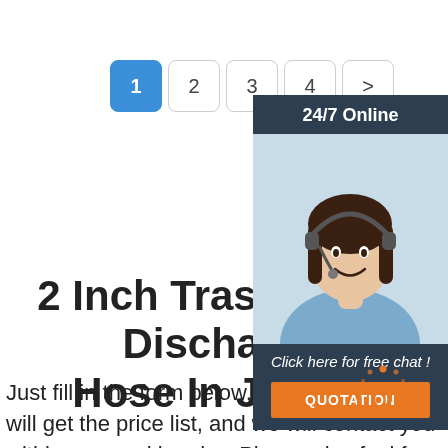[Figure (other): Pagination buttons: 1 (active/blue), 2, 3, 4, > (next)]
[Figure (other): Side panel with '24/7 Online' header, photo of a female customer service agent wearing a headset, 'Click here for free chat!' text, and an orange QUOTATION button]
2 Inch Trash Pump Discharge Hose In Jordan
Just fill in the form below, click submit, you will get the price list, and we will contact you within one working day. Please also feel free to contact us via
[Figure (logo): TOP logo in orange and red with gear/dots icon]